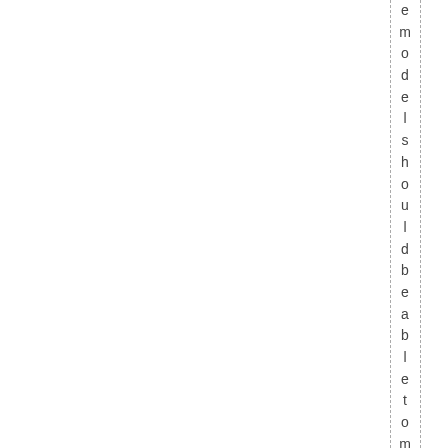e model should be able to match